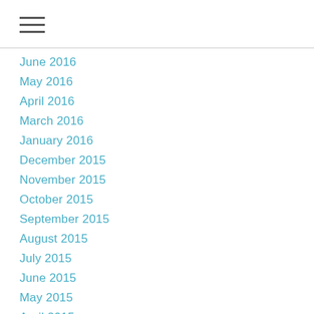[Figure (other): Hamburger menu icon with three horizontal lines]
June 2016
May 2016
April 2016
March 2016
January 2016
December 2015
November 2015
October 2015
September 2015
August 2015
July 2015
June 2015
May 2015
April 2015
March 2015
February 2015
January 2015
December 2014